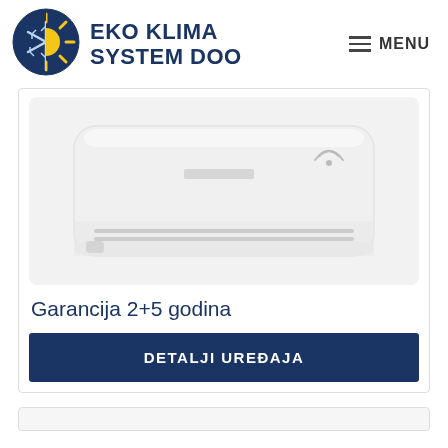[Figure (logo): Eko Klima System DOO logo: circular badge with dark blue background, snowflake on left, yellow sun on right]
EKO KLIMA
SYSTEM DOO
≡ MENU
[Figure (photo): White wall-mounted air conditioning unit on light background]
Garancija 2+5 godina
DETALJI UREĐAJA